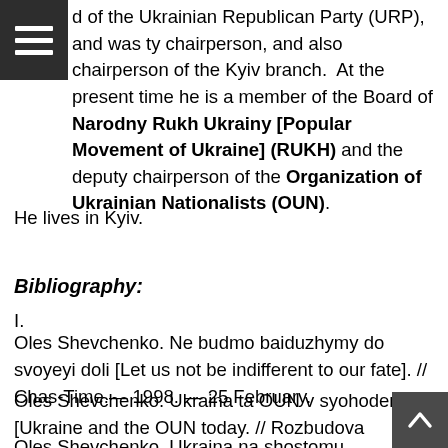d of the Ukrainian Republican Party (URP), and was ty chairperson, and also chairperson of the Kyiv branch.  At the present time he is a member of the Board of Narodny Rukh Ukrainy [Popular Movement of Ukraine] (RUKH) and the deputy chairperson of the Organization of Ukrainian Nationalists (OUN).
He lives in Kyiv.
Bibliography:
I.
Oles Shevchenko. Ne budmo baiduzhymy do svoyeyi doli [Let us not be indifferent to our fate]. // Chas-Time.— 1998. — 25 February.
Oles Shevchenko. Ukraina ta OUN v syohodenni [Ukraine and the OUN today. // Rozbudova derzhavy, 1996, № 11.— pp. 5-9.
Oles Shevchenko. Ukraina na shostomu rotsi nezalezhr